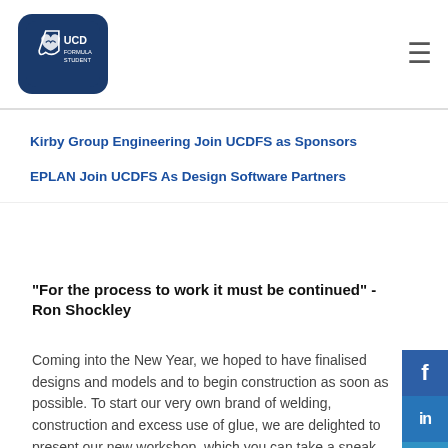[Figure (logo): UCD Formula Student logo — white swan and shield on dark navy rounded square, with text UCD FORMULA STUDENT]
≡
Kirby Group Engineering Join UCDFS as Sponsors
EPLAN Join UCDFS As Design Software Partners
“For the process to work it must be continued” - Ron Shockley
Coming into the New Year, we hoped to have finalised designs and models and to begin construction as soon as possible. To start our very own brand of welding, construction and excess use of glue, we are delighted to present our new workshop, which you can take a sneak peak at below. Members from all of our teams were happy to come and clean out the space and to make it truly feel